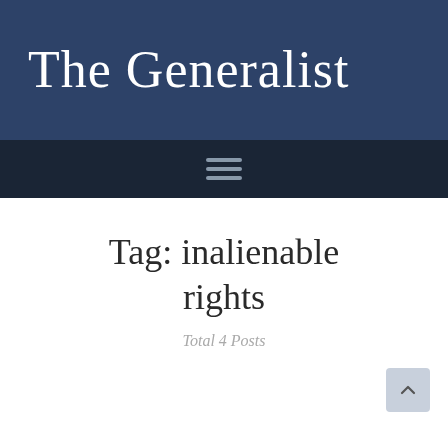The Generalist
Tag: inalienable rights
Total 4 Posts